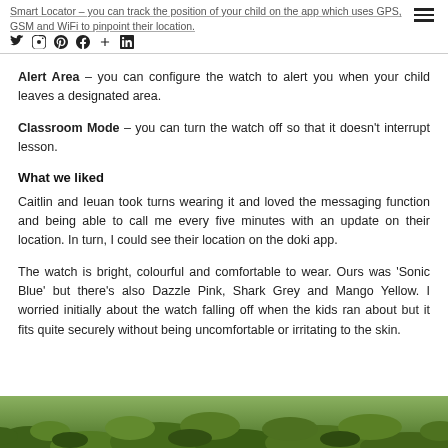Smart Locator – you can track the position of your child on the app which uses GPS, GSM and WiFi to pinpoint their location.
Alert Area – you can configure the watch to alert you when your child leaves a designated area.
Classroom Mode – you can turn the watch off so that it doesn't interrupt lesson.
What we liked
Caitlin and Ieuan took turns wearing it and loved the messaging function and being able to call me every five minutes with an update on their location.  In turn, I could see their location on the doki app.
The watch is bright, colourful and comfortable to wear. Ours was 'Sonic Blue' but there's also Dazzle Pink, Shark Grey and Mango Yellow. I worried initially about the watch falling off when the kids ran about but it fits quite securely without being uncomfortable or irritating to the skin.
[Figure (photo): Green grassy outdoor scene photo strip at the bottom of the page]